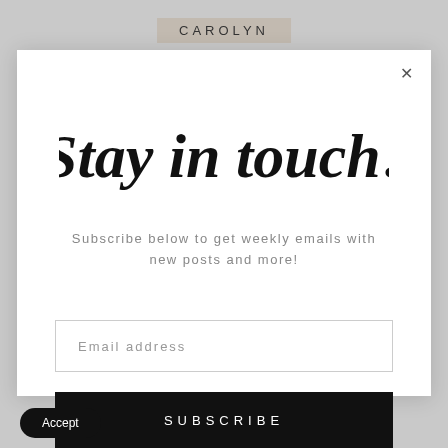CAROLYN
[Figure (screenshot): Modal popup overlay with newsletter subscription form on a grey website background]
Stay in touch!
Subscribe below to get weekly emails with new posts and more!
Email address
SUBSCRIBE
Accept